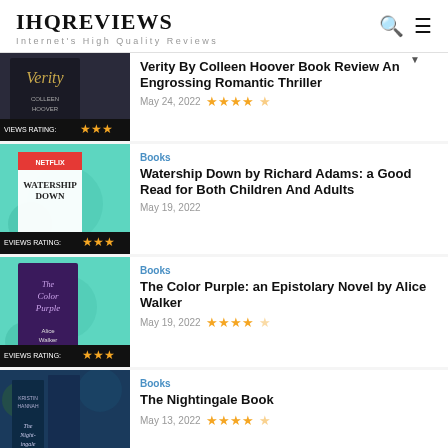IHQREVIEWS — Internet's High Quality Reviews
[Figure (photo): Book cover for Verity by Colleen Hoover with dark background]
Verity By Colleen Hoover Book Review An Engrossing Romantic Thriller
May 24, 2022 ★★★★½
[Figure (photo): Book cover for Watership Down on teal/mint background with Netflix logo]
Books
Watership Down by Richard Adams: a Good Read for Both Children And Adults
May 19, 2022
[Figure (photo): Book cover for The Color Purple by Alice Walker on teal background]
Books
The Color Purple: an Epistolary Novel by Alice Walker
May 19, 2022 ★★★★☆
[Figure (photo): Book cover for The Nightingale by Kristin Hannah on dark blue background]
Books
The Nightingale Book
May 13, 2022 ★★★★½